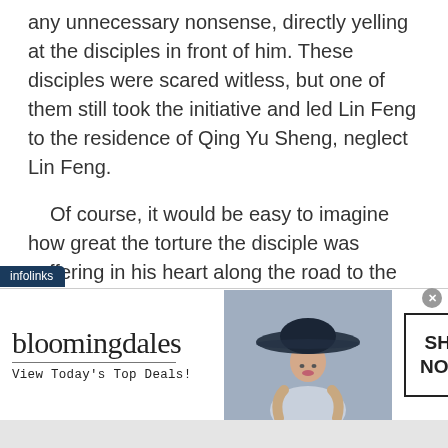any unnecessary nonsense, directly yelling at the disciples in front of him. These disciples were scared witless, but one of them still took the initiative and led Lin Feng to the residence of Qing Yu Sheng, neglect Lin Feng.
Of course, it would be easy to imagine how great the torture the disciple was suffering in his heart along the road to the residence. He was listening to Lin Feng's footsteps and breathing carefully on the way. He was afraid that if something went wrong, it would make Lin Feng angry.
[Figure (other): Bloomingdale's advertisement banner with logo, tagline 'View Today's Top Deals!', a woman in a wide-brim hat, and a 'SHOP NOW >' button. Labeled with 'infolinks' tab.]